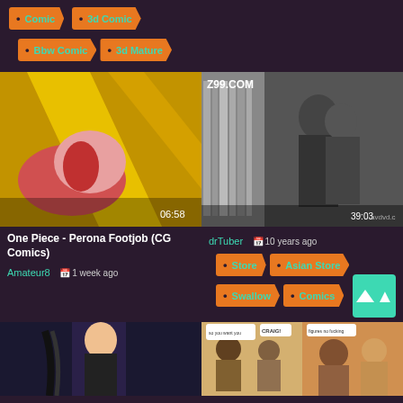Comic
3d Comic
Bbw Comic
3d Mature
[Figure (screenshot): Video thumbnail: animated/CG content, duration 06:58]
[Figure (screenshot): Video thumbnail: real video with Z99.COM watermark, duration 39:03]
One Piece - Perona Footjob (CG Comics)
Amateur8  1 week ago
drTuber  10 years ago
Store
Asian Store
Swallow
Comics
[Figure (illustration): Bottom thumbnail left: manga/comic character illustration]
[Figure (illustration): Bottom thumbnail middle: comic strip panel with characters]
[Figure (illustration): Bottom thumbnail right: comic strip panel with characters]